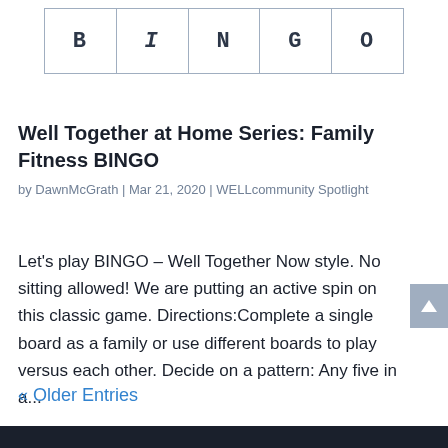| B | I | N | G | O |
| --- | --- | --- | --- | --- |
Well Together at Home Series: Family Fitness BINGO
by DawnMcGrath | Mar 21, 2020 | WELLcommunity Spotlight
Let's play BINGO – Well Together Now style. No sitting allowed! We are putting an active spin on this classic game. Directions:Complete a single board as a family or use different boards to play versus each other. Decide on a pattern: Any five in a...
« Older Entries